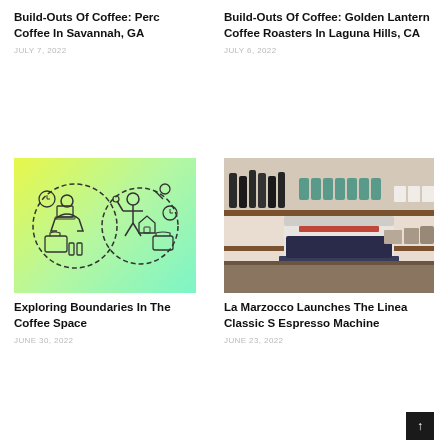Build-Outs Of Coffee: Perc Coffee In Savannah, GA
JULY 7, 2022
Build-Outs Of Coffee: Golden Lantern Coffee Roasters In Laguna Hills, CA
JULY 6, 2022
[Figure (illustration): Yellow-green gradient background with two circular dashed icons depicting work-life balance figures with briefcases, clocks, and tools]
Exploring Boundaries In The Coffee Space
JUNE 30, 2022
[Figure (photo): Interior of a coffee shop showing a La Marzocco espresso machine on a wooden counter with shelves of bottles and jars in the background]
La Marzocco Launches The Linea Classic S Espresso Machine
JUNE 23, 2022